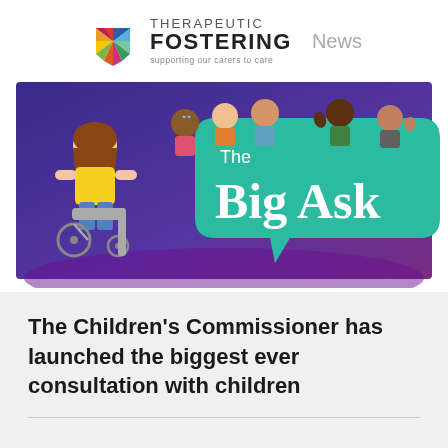THERAPEUTIC FOSTERING News — supporting our carers to care
[Figure (illustration): The Big Ask campaign illustration showing diverse cartoon children, one in a wheelchair, holding a large green speech bubble banner reading 'The Big Ask' against a purple background.]
The Children's Commissioner has launched the biggest ever consultation with children